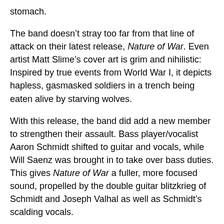stomach.
The band doesn't stray too far from that line of attack on their latest release, Nature of War. Even artist Matt Slime's cover art is grim and nihilistic: Inspired by true events from World War I, it depicts hapless, gasmasked soldiers in a trench being eaten alive by starving wolves.
With this release, the band did add a new member to strengthen their assault. Bass player/vocalist Aaron Schmidt shifted to guitar and vocals, while Will Saenz was brought in to take over bass duties. This gives Nature of War a fuller, more focused sound, propelled by the double guitar blitzkrieg of Schmidt and Joseph Valhal as well as Schmidt's scalding vocals.
After a brief build up, the album's opener, "Violent Enlightenment," throws you into battle with little time to react. From there, the album plays like a series of brutalizing mini skirmishes with stinging solos, pummeling beats, and the occasional slower part that gives you just enough time to catch your breath.